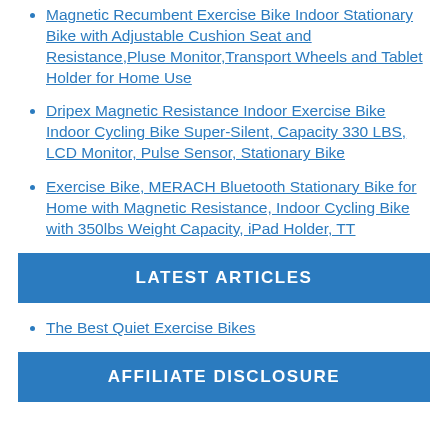Magnetic Recumbent Exercise Bike Indoor Stationary Bike with Adjustable Cushion Seat and Resistance,Pluse Monitor,Transport Wheels and Tablet Holder for Home Use
Dripex Magnetic Resistance Indoor Exercise Bike Indoor Cycling Bike Super-Silent, Capacity 330 LBS, LCD Monitor, Pulse Sensor, Stationary Bike
Exercise Bike, MERACH Bluetooth Stationary Bike for Home with Magnetic Resistance, Indoor Cycling Bike with 350lbs Weight Capacity, iPad Holder, TT
LATEST ARTICLES
The Best Quiet Exercise Bikes
AFFILIATE DISCLOSURE